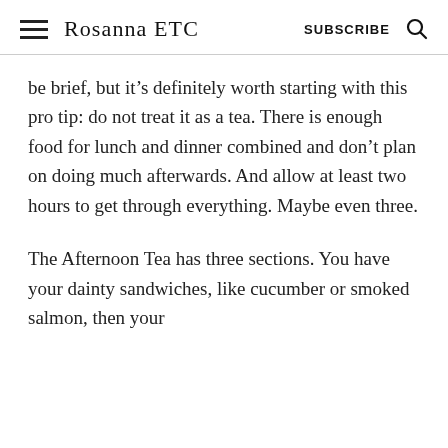Rosanna Etc  SUBSCRIBE
be brief, but it’s definitely worth starting with this pro tip: do not treat it as a tea. There is enough food for lunch and dinner combined and don’t plan on doing much afterwards. And allow at least two hours to get through everything. Maybe even three.
The Afternoon Tea has three sections. You have your dainty sandwiches, like cucumber or smoked salmon, then your